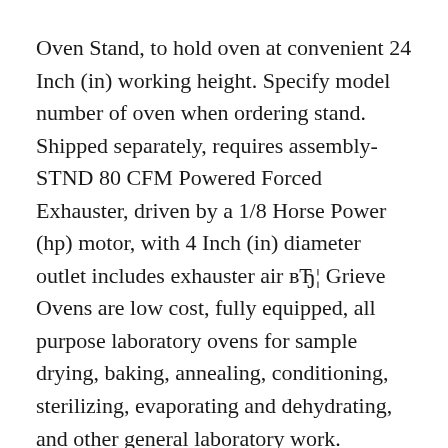Oven Stand, to hold oven at convenient 24 Inch (in) working height. Specify model number of oven when ordering stand. Shipped separately, requires assembly-STND 80 CFM Powered Forced Exhauster, driven by a 1/8 Horse Power (hp) motor, with 4 Inch (in) diameter outlet includes exhauster air вЂ¦ Grieve Ovens are low cost, fully equipped, all purpose laboratory ovens for sample drying, baking, annealing, conditioning, sterilizing, evaporating and dehydrating, and other general laboratory work.
Adjustable fresh air inlet damper at the oven bottom provides control of the amount of fresh air entering the oven. Additional Shelves: 15 Pound (lb) distributed load per shelf 20 Pound...